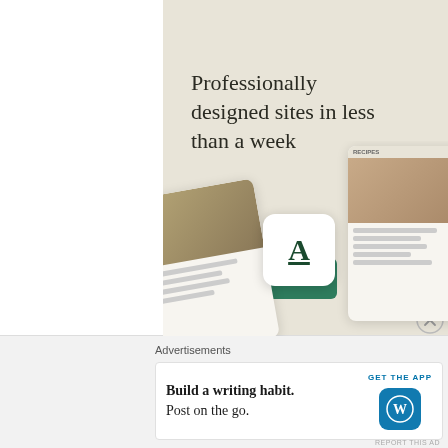[Figure (illustration): Advertisement banner with beige/cream background showing 'Professionally designed sites in less than a week' headline with a green 'Explore options' button and mockup website cards at the bottom including a logo card with letter A]
Professionally designed sites in less than a week
Explore options
Advertisements
Build a writing habit. Post on the go.
GET THE APP
REPORT THIS AD